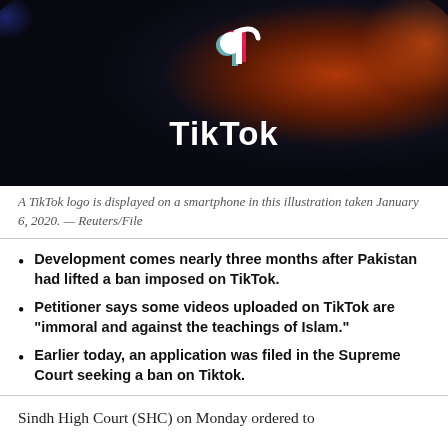[Figure (photo): A TikTok logo displayed on a smartphone screen. The TikTok musical note icon is visible at the top, with the white TikTok wordmark below it. The background is dark with orange/red bokeh lighting on the right side.]
A TikTok logo is displayed on a smartphone in this illustration taken January 6, 2020. — Reuters/File
Development comes nearly three months after Pakistan had lifted a ban imposed on TikTok.
Petitioner says some videos uploaded on TikTok are "immoral and against the teachings of Islam."
Earlier today, an application was filed in the Supreme Court seeking a ban on Tiktok.
Sindh High Court (SHC) on Monday ordered to